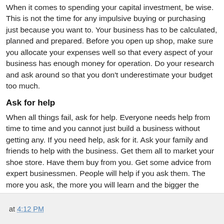When it comes to spending your capital investment, be wise. This is not the time for any impulsive buying or purchasing just because you want to. Your business has to be calculated, planned and prepared. Before you open up shop, make sure you allocate your expenses well so that every aspect of your business has enough money for operation. Do your research and ask around so that you don't underestimate your budget too much.
Ask for help
When all things fail, ask for help. Everyone needs help from time to time and you cannot just build a business without getting any. If you need help, ask for it. Ask your family and friends to help with the business. Get them all to market your shoe store. Have them buy from you. Get some advice from expert businessmen. People will help if you ask them. The more you ask, the more you will learn and the bigger the possibility of your business becoming a success.
at 4:12 PM